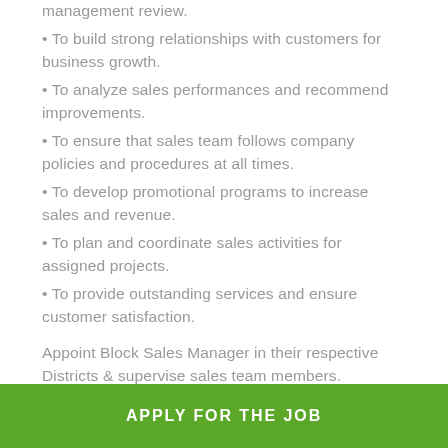management review.
• To build strong relationships with customers for business growth.
• To analyze sales performances and recommend improvements.
• To ensure that sales team follows company policies and procedures at all times.
• To develop promotional programs to increase sales and revenue.
• To plan and coordinate sales activities for assigned projects.
• To provide outstanding services and ensure customer satisfaction.
Appoint Block Sales Manager in their respective Districts & supervise sales team members. Evaluate employee performance and provide feedback for improvements, prepare sales reports ,develop promotional programs, plan and coordinate sales activities.
APPLY FOR THE JOB